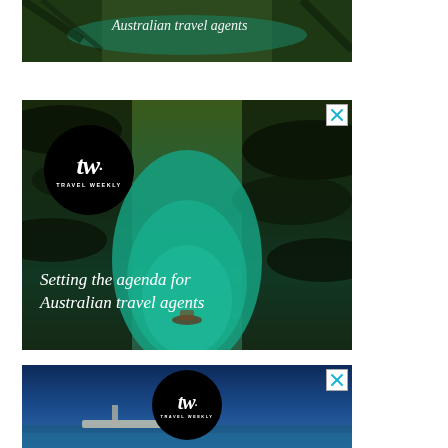[Figure (illustration): Partial Travel Weekly advertisement banner showing tropical river scene with palm trees and tagline 'Australian travel agents' in white italic text on dark background. The top portion is cropped.]
[Figure (illustration): Travel Weekly advertisement showing aerial view of tropical river/canal surrounded by palm trees, with Travel Weekly logo (black circle with 'tw' script and 'TRAVEL WEEKLY' text) in upper left, close/dismiss X button in top right corner, and tagline 'Setting the agenda for Australian travel agents' in white italic text at bottom left.]
[Figure (illustration): Travel Weekly advertisement showing blue sky and water scene with Travel Weekly logo (black circle with 'tw' script and 'TRAVEL WEEKLY' text) centered, close/dismiss X button in top right corner. Bottom portion of advertisement, full text not visible.]